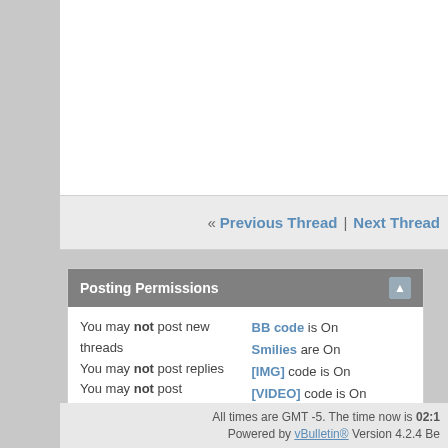« Previous Thread | Next Thread »
Posting Permissions
You may not post new threads
You may not post replies
You may not post attachments
You may not edit your posts
BB code is On
Smilies are On
[IMG] code is On
[VIDEO] code is On
HTML code is Off
Forum Rules
For iPhone/Android/iPad, use Forum Runner or Tapatalk      WB H
Contact Us   WoodenBoat Subscription
All times are GMT -5. The time now is 02:1
Powered by vBulletin® Version 4.2.4 Be